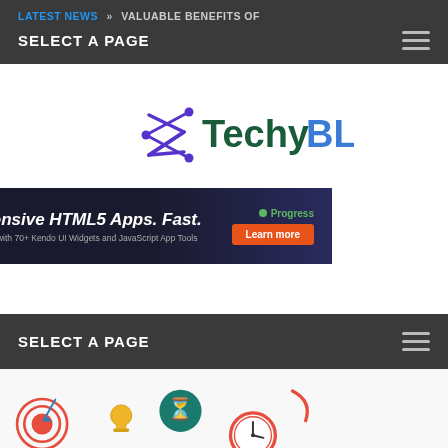LATEST NEWS » VALUABLE BENEFITS OF
SELECT A PAGE
[Figure (logo): TechyBLOG logo with angular bracket arrow icon in purple/blue, text Techy in dark green and BLOG in blue gradient]
[Figure (screenshot): Progress Kendo UI advertisement banner: Build Responsive HTML5 Apps. Fast. Save Development Time with 70+ Kendo UI Widgets and JavaScript App Tools. Learn more.]
SELECT A PAGE
[Figure (infographic): Infographic showing productivity/time management icons: target/bullseye with arrow, trophy/award, hourglass timer, clock, and a mobile phone with chat bubbles, on a white background]